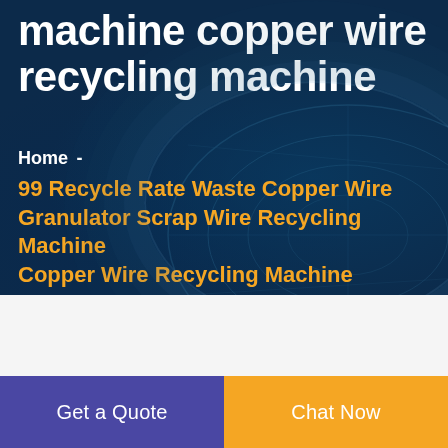machine copper wire recycling machine
Home -
99 Recycle Rate Waste Copper Wire Granulator Scrap Wire Recycling Machine Copper Wire Recycling Machine
Get a Quote
Chat Now